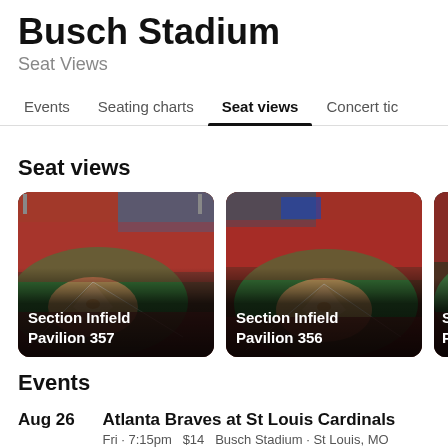Busch Stadium
Seat Views
Events  Seating charts  Seat views  Concert tickets
Seat views
[Figure (photo): Aerial view of Busch Stadium baseball field from Section Infield Pavilion 357]
Section Infield Pavilion 357
[Figure (photo): Aerial view of Busch Stadium baseball field from Section Infield Pavilion 356]
Section Infield Pavilion 356
[Figure (photo): Partial view of Busch Stadium from another section (clipped)]
Events
Aug 26
Atlanta Braves at St Louis Cardinals
Fri 7:15pm  $14  Busch Stadium · St Louis, MO